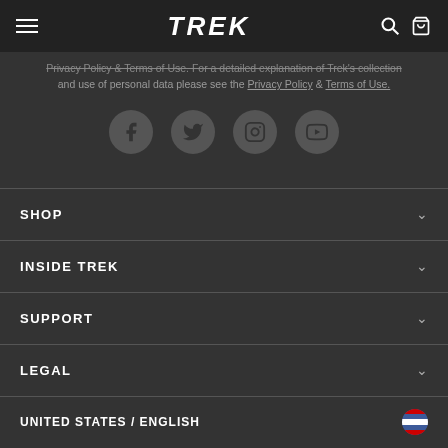TREK - Navigation bar with hamburger menu, TREK logo, search and cart icons
Privacy Policy & Terms of Use. For a detailed explanation of Trek's collection and use of personal data please see the Privacy Policy & Terms of Use.
[Figure (screenshot): Four circular social media icons: Facebook, Twitter, Instagram, YouTube]
SHOP
INSIDE TREK
SUPPORT
LEGAL
UNITED STATES / ENGLISH